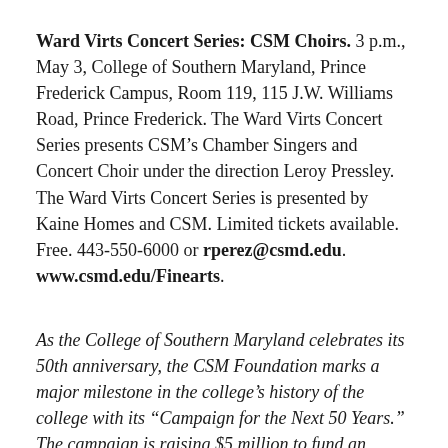Ward Virts Concert Series: CSM Choirs. 3 p.m., May 3, College of Southern Maryland, Prince Frederick Campus, Room 119, 115 J.W. Williams Road, Prince Frederick. The Ward Virts Concert Series presents CSM’s Chamber Singers and Concert Choir under the direction Leroy Pressley. The Ward Virts Concert Series is presented by Kaine Homes and CSM. Limited tickets available. Free. 443-550-6000 or rperez@csmd.edu. www.csmd.edu/Finearts.
As the College of Southern Maryland celebrates its 50th anniversary, the CSM Foundation marks a major milestone in the college’s history of the college with its “Campaign for the Next 50 Years.” The campaign is raising $5 million to fund an Institute for Science, Technology, Engineering and Math